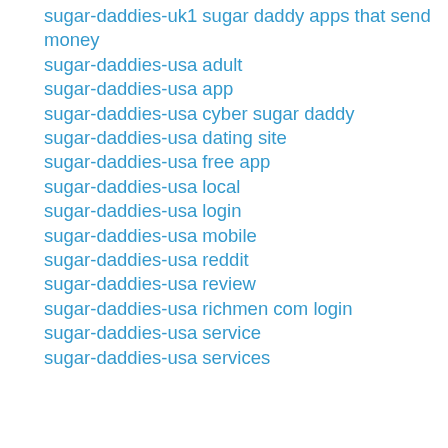sugar-daddies-uk1 sugar daddy apps that send money
sugar-daddies-usa adult
sugar-daddies-usa app
sugar-daddies-usa cyber sugar daddy
sugar-daddies-usa dating site
sugar-daddies-usa free app
sugar-daddies-usa local
sugar-daddies-usa login
sugar-daddies-usa mobile
sugar-daddies-usa reddit
sugar-daddies-usa review
sugar-daddies-usa richmen com login
sugar-daddies-usa service
sugar-daddies-usa services